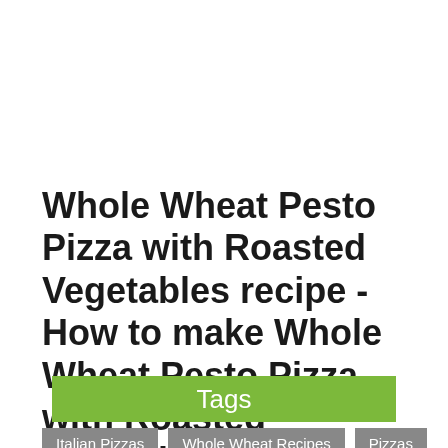Whole Wheat Pesto Pizza with Roasted Vegetables recipe - How to make Whole Wheat Pesto Pizza with Roasted Vegetables
Tags
Italian Pizzas
Whole Wheat Recipes
Pizzas